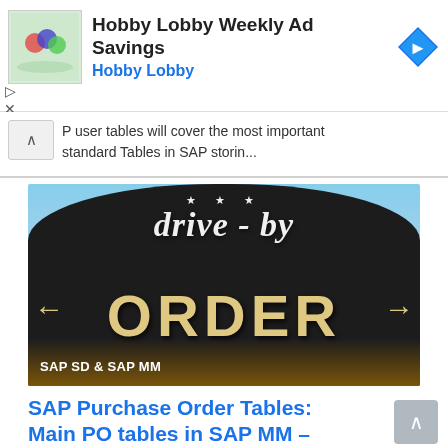[Figure (screenshot): Advertisement banner for Hobby Lobby Weekly Ad Savings showing small crafts image on left, text 'Hobby Lobby Weekly Ad Savings / Hobby Lobby' in center, and blue diamond navigation arrow icon on right]
P user tables will cover the most important standard Tables in SAP storin...
[Figure (photo): Photo of a drive-through order sign with dark background, cursive text 'drive-by' at top with stars, large bold text 'ORDER' in the middle with arrow decorations on sides, and label 'SAP SD & SAP MM' at bottom left]
SAP Purchase Order Tables: Main PO tables in SAP MM – SAP PO Tables